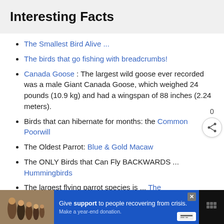Interesting Facts
The Smallest Bird Alive ...
The birds that go fishing with breadcrumbs!
Canada Goose : The largest wild goose ever recorded was a male Giant Canada Goose, which weighed 24 pounds (10.9 kg) and had a wingspan of 88 inches (2.24 meters).
Birds that can hibernate for months: the Common Poorwill
The Oldest Parrot: Blue & Gold Macaw
The ONLY Birds that Can Fly BACKWARDS ... Hummingbirds
The largest flying parrot species is ... The
[Figure (infographic): Advertisement banner at the bottom of the page showing a family photo, blue background with text 'Give support to people recovering from crisis. Make a year-end donation.' with a close button and payment icon, and a dark right panel with dots icon.]